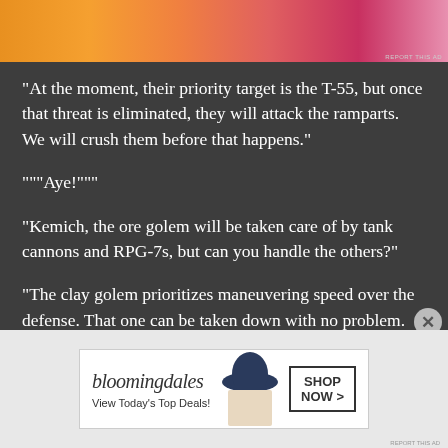[Figure (illustration): Colorful advertisement banner at top with orange/pink gradient background and decorative elements]
“At the moment, their priority target is the T-55, but once that threat is eliminated, they will attack the ramparts. We will crush them before that happens.”
“““Aye!”””
“Kemich, the ore golem will be taken care of by tank cannons and RPG-7s, but can you handle the others?”
“The clay golem prioritizes maneuvering speed over the defense. That one can be taken down with no problem. The problem is the tree golem.”
[Figure (illustration): Bloomingdale's advertisement banner at bottom with logo, tagline 'View Today's Top Deals!' and Shop Now button, with woman in large hat]